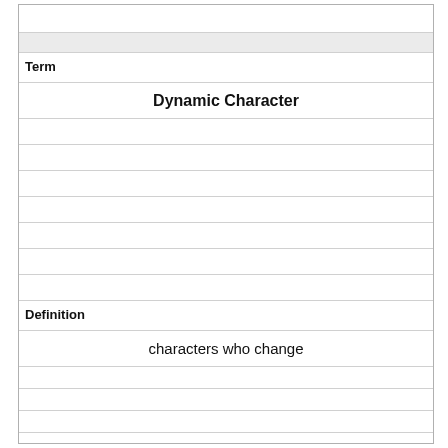| Term | Definition |
| --- | --- |
| Dynamic Character | characters who change |